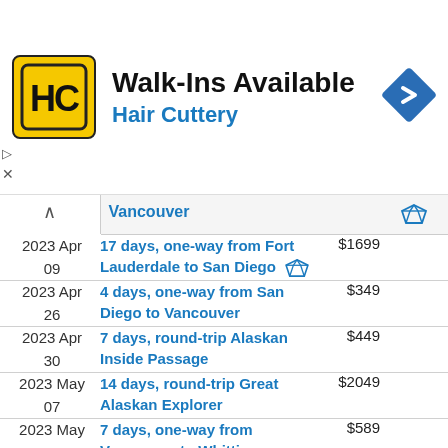[Figure (infographic): Hair Cuttery advertisement banner with yellow HC logo, 'Walk-Ins Available' headline, 'Hair Cuttery' subtitle in blue, and a blue navigation arrow icon on the right]
| Date | Description | Price |
| --- | --- | --- |
| Vancouver |  |  |
| 2023 Apr
09 | 17 days, one-way from Fort Lauderdale to San Diego | $1699 |
| 2023 Apr
26 | 4 days, one-way from San Diego to Vancouver | $349 |
| 2023 Apr
30 | 7 days, round-trip Alaskan Inside Passage | $449 |
| 2023 May
07 | 14 days, round-trip Great Alaskan Explorer | $2049 |
| 2023 May
21 | 7 days, one-way from Vancouver to Whittier | $589 |
| 2023 May
28 | 7 days, one-way from Whittier to Vancouver | $589 |